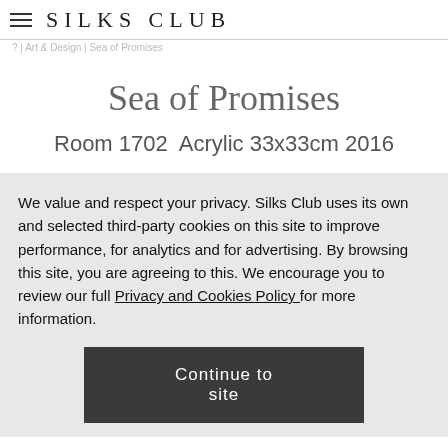? | Art & Design | Sea of Promises
SILKS CLUB
Sea of Promises
Room 1702  Acrylic 33x33cm 2016
We value and respect your privacy. Silks Club uses its own and selected third-party cookies on this site to improve performance, for analytics and for advertising. By browsing this site, you are agreeing to this. We encourage you to review our full Privacy and Cookies Policy for more information.
Continue to site